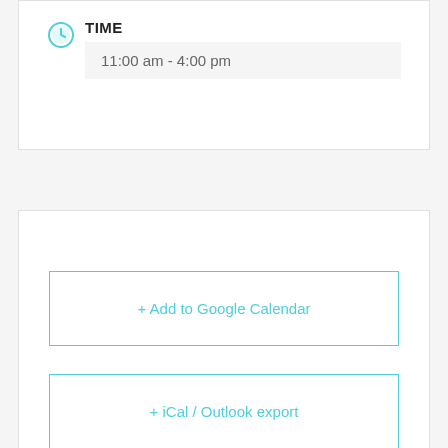TIME
11:00 am - 4:00 pm
+ Add to Google Calendar
+ iCal / Outlook export
The event is finished.